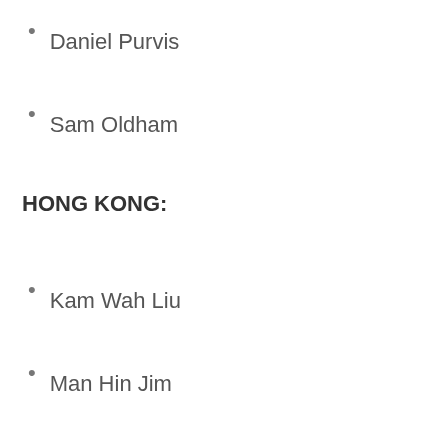Daniel Purvis
Sam Oldham
HONG KONG:
Kam Wah Liu
Man Hin Jim